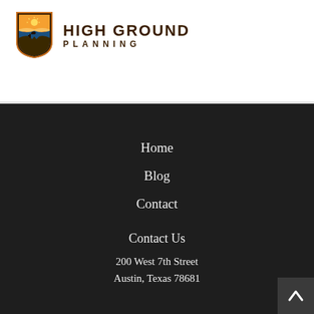[Figure (logo): High Ground Planning shield logo with bird on rock and sunset scene, brown/orange color scheme]
HIGH GROUND PLANNING
Home
Blog
Contact
Contact Us
200 West 7th Street
Austin, Texas 78681